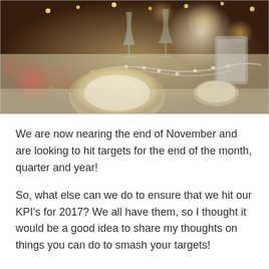[Figure (photo): A festive dinner table setting with plates, wine glasses, candles, pearl garlands, and bokeh lights in the background.]
We are now nearing the end of November and are looking to hit targets for the end of the month, quarter and year!
So, what else can we do to ensure that we hit our KPI's for 2017? We all have them, so I thought it would be a good idea to share my thoughts on things you can do to smash your targets!